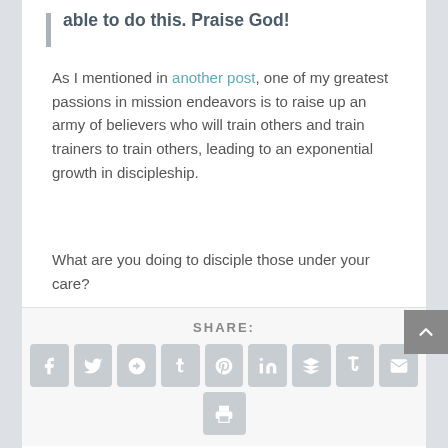able to do this. Praise God!
As I mentioned in another post, one of my greatest passions in mission endeavors is to raise up an army of believers who will train others and train trainers to train others, leading to an exponential growth in discipleship.
What are you doing to disciple those under your care?
[Figure (infographic): Social share buttons row: Facebook, Twitter, Google+, Tumblr, Pinterest, LinkedIn, Buffer, StumbleUpon, Email, and a Print button below. Label SHARE: above the icons.]